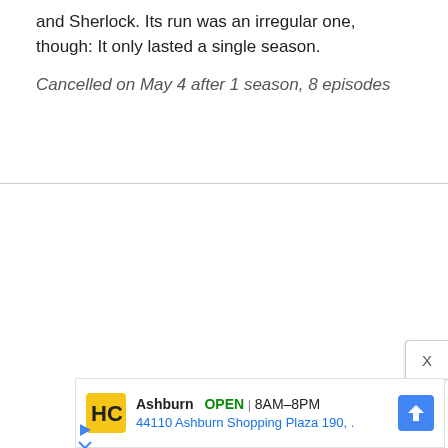and Sherlock. Its run was an irregular one, though: It only lasted a single season.
Cancelled on May 4 after 1 season, 8 episodes
[Figure (screenshot): Advertisement for Ashburn location showing HC logo, OPEN status, hours 8AM-8PM, and address 44110 Ashburn Shopping Plaza 190, with navigation arrow icon. Below are play and close icons.]